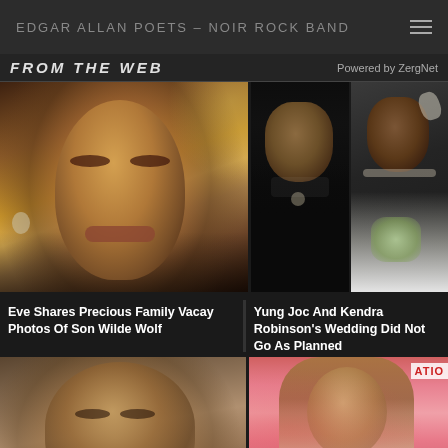EDGAR ALLAN POETS – NOIR ROCK BAND
FROM THE WEB
Powered by ZergNet
[Figure (photo): Close-up portrait of Eve (celebrity) with glamour makeup and highlights]
[Figure (photo): Yung Joc in formal black suit]
[Figure (photo): Kendra Robinson in wedding dress with bouquet]
Eve Shares Precious Family Vacay Photos Of Son Wilde Wolf
Yung Joc And Kendra Robinson's Wedding Did Not Go As Planned
[Figure (photo): Woman's face close-up, partial view]
[Figure (photo): Young person with long brown hair against pink/red background with ATION text visible]